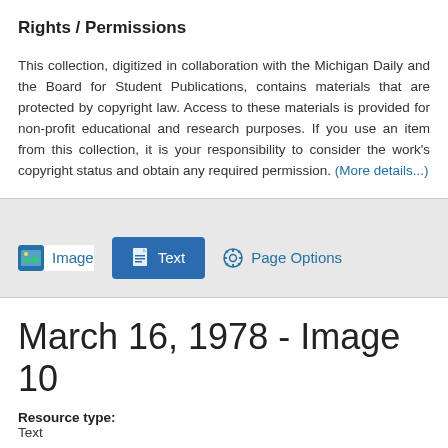Rights / Permissions
This collection, digitized in collaboration with the Michigan Daily and the Board for Student Publications, contains materials that are protected by copyright law. Access to these materials is provided for non-profit educational and research purposes. If you use an item from this collection, it is your responsibility to consider the work's copyright status and obtain any required permission. (More details...)
[Figure (screenshot): Navigation tab bar with Image, Text (active, blue button), and Page Options buttons on a gray background]
March 16, 1978 - Image 10
Resource type:
Text